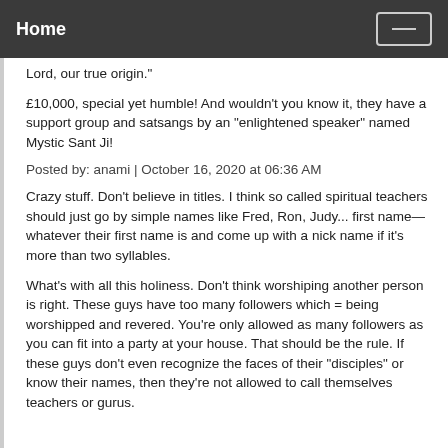Home
Lord, our true origin."
£10,000, special yet humble! And wouldn't you know it, they have a support group and satsangs by an "enlightened speaker" named Mystic Sant Ji!
Posted by: anami | October 16, 2020 at 06:36 AM
Crazy stuff. Don't believe in titles. I think so called spiritual teachers should just go by simple names like Fred, Ron, Judy... first name—whatever their first name is and come up with a nick name if it's more than two syllables.
What's with all this holiness. Don't think worshiping another person is right. These guys have too many followers which = being worshipped and revered. You're only allowed as many followers as you can fit into a party at your house. That should be the rule. If these guys don't even recognize the faces of their "disciples" or know their names, then they're not allowed to call themselves teachers or gurus.